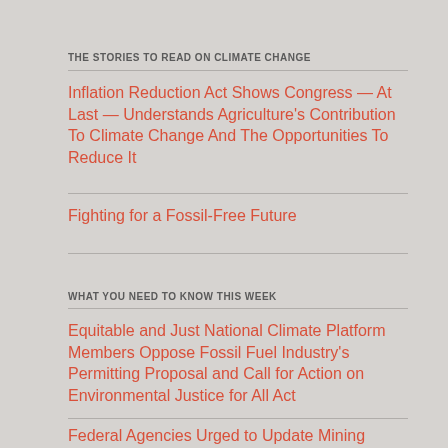THE STORIES TO READ ON CLIMATE CHANGE
Inflation Reduction Act Shows Congress — At Last — Understands Agriculture's Contribution To Climate Change And The Opportunities To Reduce It
Fighting for a Fossil-Free Future
WHAT YOU NEED TO KNOW THIS WEEK
Equitable and Just National Climate Platform Members Oppose Fossil Fuel Industry's Permitting Proposal and Call for Action on Environmental Justice for All Act
Federal Agencies Urged to Update Mining Rules, Halt Industry Handouts